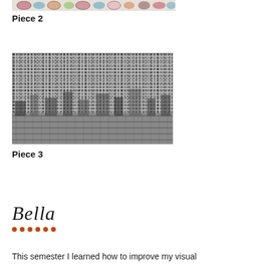[Figure (photo): Partial view of a colorful artwork at the top of the page, cropped — appears to be patterned/animal print with colors]
Piece 2
[Figure (photo): Black and white detailed drawing or print of dense cityscape with many buildings, rooftops and architectural details packed together]
Piece 3
Bella
This semester I learned how to improve my visual